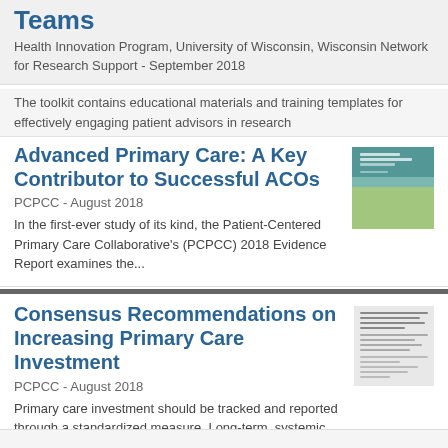Teams
Health Innovation Program, University of Wisconsin, Wisconsin Network for Research Support - September 2018
The toolkit contains educational materials and training templates for effectively engaging patient advisors in research
Advanced Primary Care: A Key Contributor to Successful ACOs
PCPCC - August 2018
In the first-ever study of its kind, the Patient-Centered Primary Care Collaborative's (PCPCC) 2018 Evidence Report examines the...
Consensus Recommendations on Increasing Primary Care Investment
PCPCC - August 2018
Primary care investment should be tracked and reported through a standardized measure. Long-term, systemic change demands a system that ensures a...